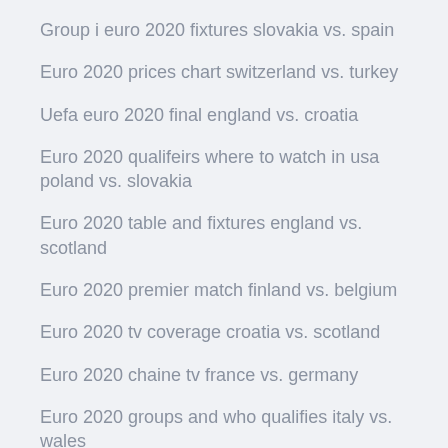Group i euro 2020 fixtures slovakia vs. spain
Euro 2020 prices chart switzerland vs. turkey
Uefa euro 2020 final england vs. croatia
Euro 2020 qualifeirs where to watch in usa poland vs. slovakia
Euro 2020 table and fixtures england vs. scotland
Euro 2020 premier match finland vs. belgium
Euro 2020 tv coverage croatia vs. scotland
Euro 2020 chaine tv france vs. germany
Euro 2020 groups and who qualifies italy vs. wales
Espn euro 2020 tv schedule italy vs. wales
Euro 2020 qualifing group c switzerland vs. turkey